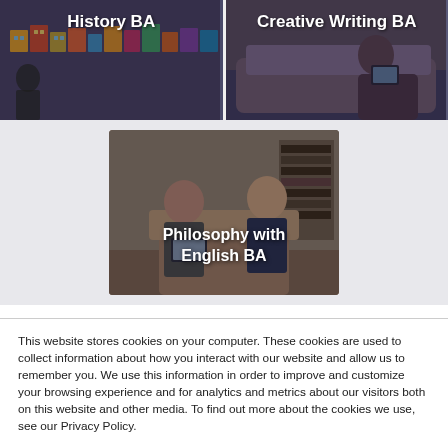[Figure (photo): History BA thumbnail image showing person in front of colorful mosaic building mural]
[Figure (photo): Creative Writing BA thumbnail image showing person reading on a couch]
[Figure (photo): Philosophy with English BA centered thumbnail showing two people in conversation in a room with bookshelves]
This website stores cookies on your computer. These cookies are used to collect information about how you interact with our website and allow us to remember you. We use this information in order to improve and customize your browsing experience and for analytics and metrics about our visitors both on this website and other media. To find out more about the cookies we use, see our Privacy Policy.
If you decline, your information won't be tracked when you visit this website. A single cookie will be used in your browser to remember your preference not to be tracked.